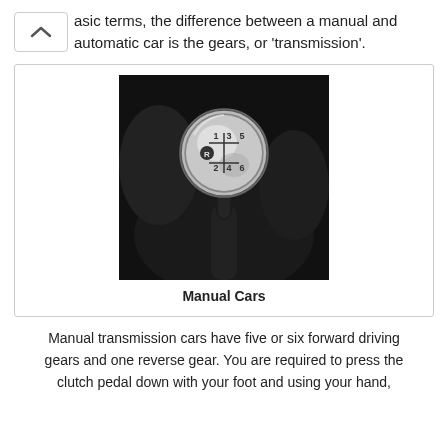asic terms, the difference between a manual and automatic car is the gears, or 'transmission'.
[Figure (photo): Black and white close-up photograph of a manual car gear shift knob showing positions R, 1, 2, 3, 4, 5, 6]
Manual Cars
Manual transmission cars have five or six forward driving gears and one reverse gear. You are required to press the clutch pedal down with your foot and using your hand,